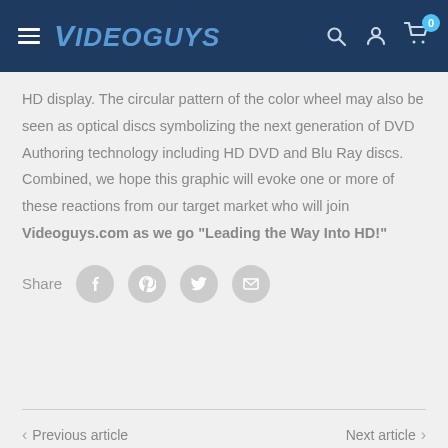Videoguys
HD display. The circular pattern of the color wheel may also be seen as optical discs symbolizing the next generation of DVD Authoring technology including HD DVD and Blu Ray discs. Combined, we hope this graphic will evoke one or more of these reactions from our target market who will join Videoguys.com as we go "Leading the Way Into HD!"
Share
Previous article
Next article